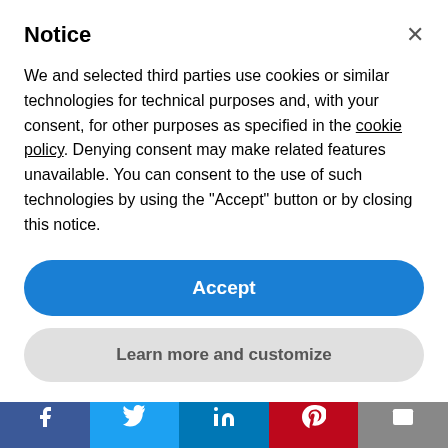Notice
We and selected third parties use cookies or similar technologies for technical purposes and, with your consent, for other purposes as specified in the cookie policy. Denying consent may make related features unavailable. You can consent to the use of such technologies by using the "Accept" button or by closing this notice.
Accept
Learn more and customize
recording career, selling an estimated 22 million records and performing in front of integrated and secular audiences in concert halls around the world. Jackson's iconic voice helped to spread the message
[Figure (screenshot): Social share bar with Facebook, Twitter, LinkedIn, Pinterest, and email buttons]